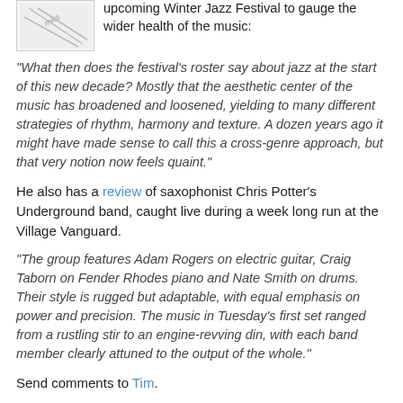[Figure (illustration): Small image with diagonal text/logo, partially visible at top left]
upcoming Winter Jazz Festival to gauge the wider health of the music:
"What then does the festival's roster say about jazz at the start of this new decade? Mostly that the aesthetic center of the music has broadened and loosened, yielding to many different strategies of rhythm, harmony and texture. A dozen years ago it might have made sense to call this a cross-genre approach, but that very notion now feels quaint."
He also has a review of saxophonist Chris Potter's Underground band, caught live during a week long run at the Village Vanguard.
"The group features Adam Rogers on electric guitar, Craig Taborn on Fender Rhodes piano and Nate Smith on drums. Their style is rugged but adaptable, with equal emphasis on power and precision. The music in Tuesday's first set ranged from a rustling stir to an engine-revving din, with each band member clearly attuned to the output of the whole."
Send comments to Tim.